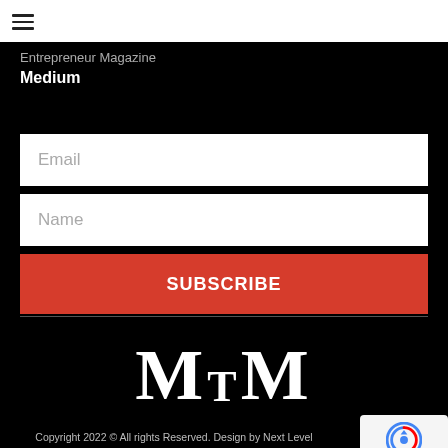[Figure (logo): Hamburger menu icon (three horizontal lines)]
Entrepreneur Magazine
Medium
Email
Name
SUBSCRIBE
[Figure (logo): MtM logo in large serif white font on black background]
Copyright 2022 © All rights Reserved. Design by Next Level Web Solutions